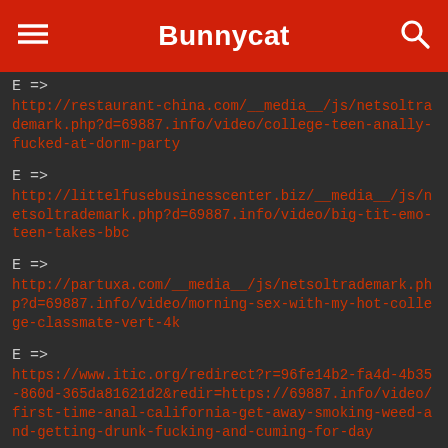Bunnycat
E =>
http://restaurant-china.com/__media__/js/netsoltrademark.php?d=69887.info/video/college-teen-anally-fucked-at-dorm-party
E =>
http://littelfusebusinesscenter.biz/__media__/js/netsoltrademark.php?d=69887.info/video/big-tit-emo-teen-takes-bbc
E =>
http://partuxa.com/__media__/js/netsoltrademark.php?d=69887.info/video/morning-sex-with-my-hot-college-classmate-vert-4k
E =>
https://www.itic.org/redirect?r=96fe14b2-fa4d-4b35-860d-365da81621d2&redir=https://69887.info/video/first-time-anal-california-get-away-smoking-weed-and-getting-drunk-fucking-and-cuming-for-day